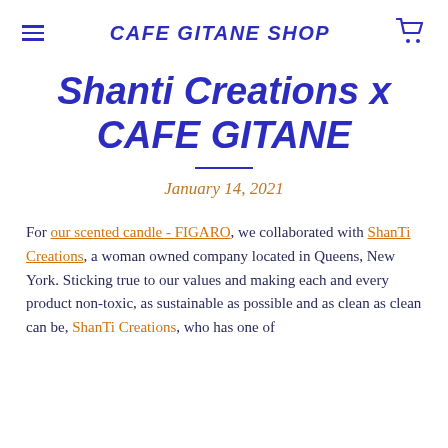CAFE GITANE SHOP
Shanti Creations x CAFE GITANE
January 14, 2021
For our scented candle - FIGARO, we collaborated with ShanTi Creations, a woman owned company located in Queens, New York. Sticking true to our values and making each and every product non-toxic, as sustainable as possible and as clean as clean can be, ShanTi Creations, who has one of